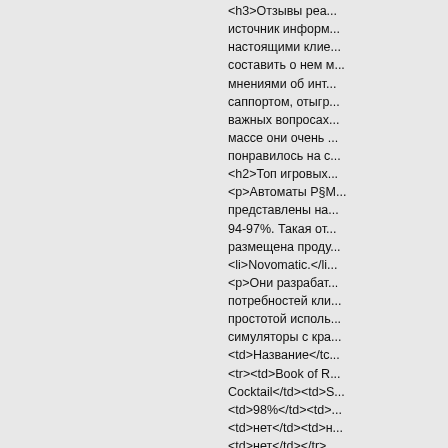<h3>Отзывы реа... источник информ... настоящими клие... составить о нем м... мнениями об инт... саппортом, отыгр... важных вопросах... массе они очень ... понравилось на с... <h2>Топ игровых... <p>Автоматы Р§... представлены на... 94-97%. Такая от... размещена проду... <li>Novomatic.</li... <p>Они разрабат... потребностей кли... простотой исполь... симуляторы с кра... <td>Название</td... <tr><td>Book of R... Cocktail</td><td>... <td>98%</td><td>... <td>нет</td><td>н... <td>нет</td></tr>... </table> </p> <p>... каждый гость, по... необходимо для ... электронный кош...